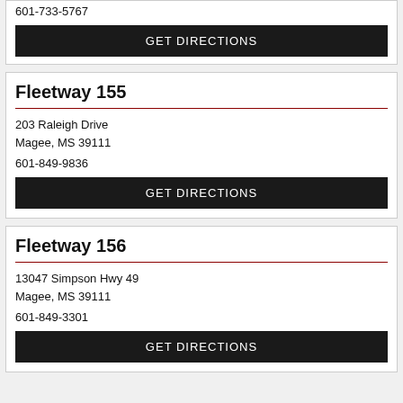601-733-5767
GET DIRECTIONS
Fleetway 155
203 Raleigh Drive
Magee, MS 39111
601-849-9836
GET DIRECTIONS
Fleetway 156
13047 Simpson Hwy 49
Magee, MS 39111
601-849-3301
GET DIRECTIONS